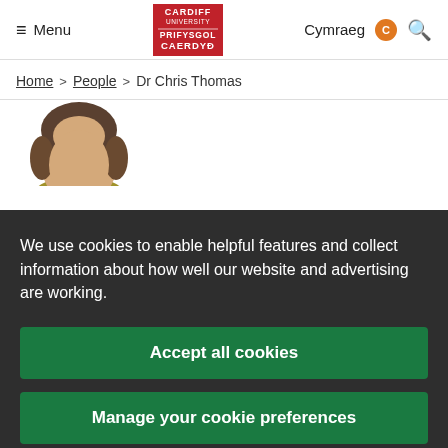Menu | Cardiff University | Cymraeg | Search
Home > People > Dr Chris Thomas
[Figure (photo): Headshot photo of Dr Chris Thomas, a person with brown/grey hair, partially visible]
We use cookies to enable helpful features and collect information about how well our website and advertising are working.
Accept all cookies
Manage your cookie preferences